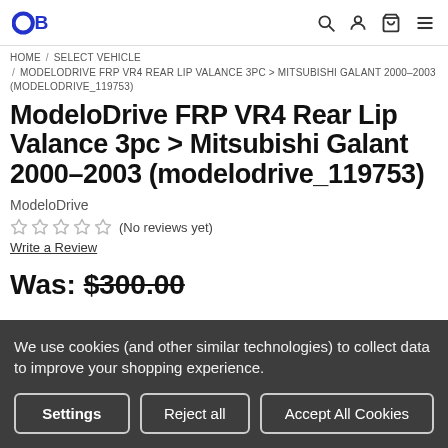OB [logo] — search, account, cart, menu icons
HOME / SELECT VEHICLE / MODELODRIVE FRP VR4 REAR LIP VALANCE 3PC > MITSUBISHI GALANT 2000-2003 (MODELODRIVE_119753)
ModeloDrive FRP VR4 Rear Lip Valance 3pc > Mitsubishi Galant 2000–2003 (modelodrive_119753)
ModeloDrive
☆☆☆☆☆ (No reviews yet)
Write a Review
Was: $300.00
We use cookies (and other similar technologies) to collect data to improve your shopping experience.
Settings  Reject all  Accept All Cookies